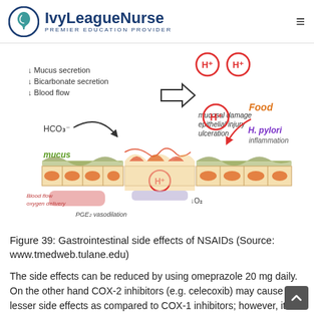IvyLeagueNurse PREMIER EDUCATION PROVIDER
[Figure (illustration): Diagram of gastrointestinal mucosal damage showing: arrows indicating decreased mucus secretion, bicarbonate secretion, and blood flow; HCO3- label; mucus layer (green); epithelial cells with orange nuclei; blood flow/oxygen delivery vessels (pink); PGE2 vasodilation label; H+ ions (red circles); mucosal damage/epithelial injury/ulceration labels; Food label; H. pylori inflammation label; decreased O2 arrow.]
Figure 39: Gastrointestinal side effects of NSAIDs (Source: www.tmedweb.tulane.edu)
The side effects can be reduced by using omeprazole 20 mg daily. On the other hand COX-2 inhibitors (e.g. celecoxib) may cause lesser side effects as compared to COX-1 inhibitors; however, it increases cardiovascular risks. Apart from gastrointestinal side effects, NSAIDs also